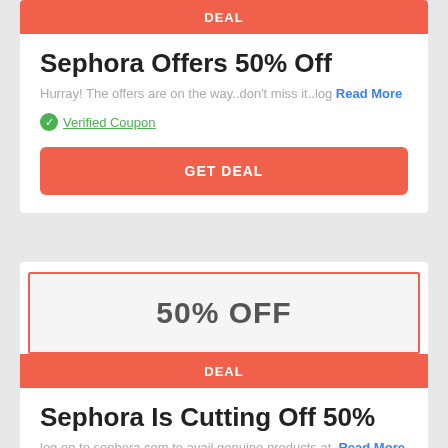DEAL
Sephora Offers 50% Off
Hurray! The offers are on the way..don't miss it..log Read More
✓ Verified Coupon
GET DEAL
[Figure (other): Coupon box showing 50% OFF text with red border]
DEAL
Sephora Is Cutting Off 50%
log on to sephora.com to avail genuine products at  Read More
✓ Verified Coupon